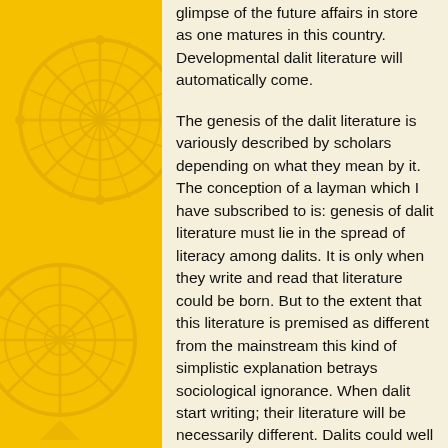glimpse of the future affairs in store as one matures in this country. Developmental dalit literature will automatically come.
The genesis of the dalit literature is variously described by scholars depending on what they mean by it. The conception of a layman which I have subscribed to is: genesis of dalit literature must lie in the spread of literacy among dalits. It is only when they write and read that literature could be born. But to the extent that this literature is premised as different from the mainstream this kind of simplistic explanation betrays sociological ignorance. When dalit start writing; their literature will be necessarily different. Dalits could well accept the dominant Brahmanic literature and cast their expressions in that mould. This is more natural to happen than otherwise. Indeed it has happened as the history of Dalit literature will show.
Right from the impressionable age in childhood our mode of expression, socialization, roles etc. are all shaped by the hegemonic system of Brahmins. We are ashamed of our language, customs, culture or our very being. We are only taught to be ashamed of our being, to hate ourselves and therefore to emulate what Brahminic people do. The concept of sanskritisa